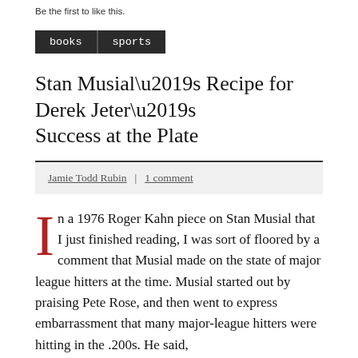Be the first to like this.
books  sports
Stan Musial’s Recipe for Derek Jeter’s Success at the Plate
Jamie Todd Rubin  |  1 comment
In a 1976 Roger Kahn piece on Stan Musial that I just finished reading, I was sort of floored by a comment that Musial made on the state of major league hitters at the time. Musial started out by praising Pete Rose, and then went to express embarrassment that many major-league hitters were hitting in the .200s. He said,